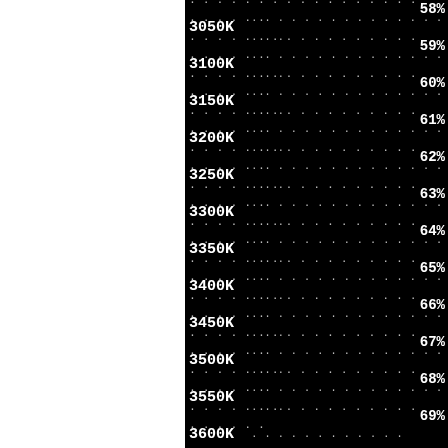... ... ... ... ... ... ... ... ... ... 58%
3050K ... ... ... ... ... ... ... ... ...
... ... ... ... ... ... ... ... ... ... 59%
3100K ... ... ... ... ... ... ... ... ...
... ... ... ... ... ... ... ... ... ... 60%
3150K ... ... ... ... ... ... ... ... ...
... ... ... ... ... ... ... ... ... ... 61%
3200K ... ... ... ... ... ... ... ... ...
... ... ... ... ... ... ... ... ... ... 62%
3250K ... ... ... ... ... ... ... ... ...
... ... ... ... ... ... ... ... ... ... 63%
3300K ... ... ... ... ... ... ... ... ...
... ... ... ... ... ... ... ... ... ... 64%
3350K ... ... ... ... ... ... ... ... ...
... ... ... ... ... ... ... ... ... ... 65%
3400K ... ... ... ... ... ... ... ... ...
... ... ... ... ... ... ... ... ... ... 66%
3450K ... ... ... ... ... ... ... ... ...
... ... ... ... ... ... ... ... ... ... 67%
3500K ... ... ... ... ... ... ... ... ...
... ... ... ... ... ... ... ... ... ... 68%
3550K ... ... ... ... ... ... ... ... ...
... ... ... ... ... ... ... ... ... ... 69%
3600K ...